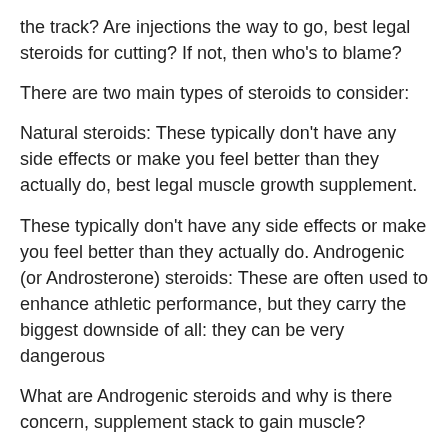the track? Are injections the way to go, best legal steroids for cutting? If not, then who's to blame?
There are two main types of steroids to consider:
Natural steroids: These typically don't have any side effects or make you feel better than they actually do, best legal muscle growth supplement.
These typically don't have any side effects or make you feel better than they actually do. Androgenic (or Androsterone) steroids: These are often used to enhance athletic performance, but they carry the biggest downside of all: they can be very dangerous
What are Androgenic steroids and why is there concern, supplement stack to gain muscle?